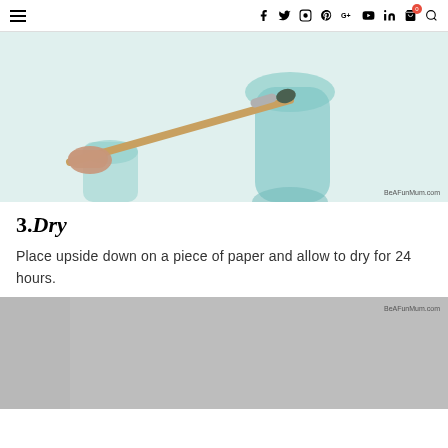≡  f  twitter  instagram  pinterest  G+  youtube  in  cart(0)  search
[Figure (photo): A hand holding a paintbrush with dark paint on the tip, positioned near a light teal/mint colored glass bottle or vase on a white background. Watermark: BeAFunMum.com]
3.Dry
Place upside down on a piece of paper and allow to dry for 24 hours.
[Figure (photo): A gray/silver surface or background, partially visible. Watermark: BeAFunMum.com]